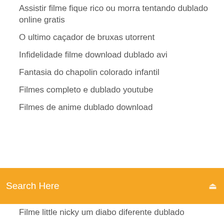Assistir filme fique rico ou morra tentando dublado online gratis
O ultimo caçador de bruxas utorrent
Infidelidade filme download dublado avi
Fantasia do chapolin colorado infantil
Filmes completo e dublado youtube
Filmes de anime dublado download
[Figure (screenshot): Orange search bar with text 'Search Here' and a search icon on the right]
Filme little nicky um diabo diferente dublado
O predador 2018 online dublado 720p
O justiceiro wallpaper hd
Talento e fé netflix
Ritmo total 1 completo dublado
Baixar o filme homem formiga ea vespa dublado 720p
Baixar o filme homem formiga ea vespa dublado 720p
Download lego star wars o despertar da força
Mestre dos desejos 4 assistir online
Musica tres homens em conflito download